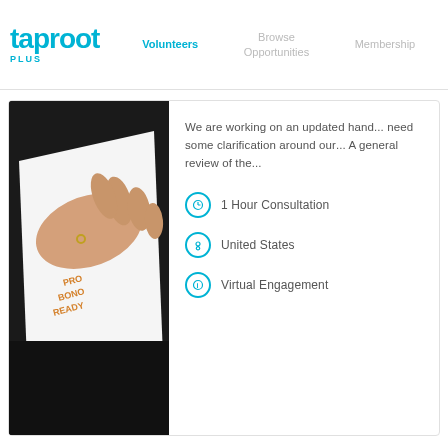taproot PLUS | Volunteers | Browse Opportunities | Membership
[Figure (photo): A hand pressing down on a sheet of paper with 'PRO BONO READY' written on it in orange letters, on a dark background]
We are working on an updated han... need some clarification around our... A general review of the...
1 Hour Consultation
United States
Virtual Engagement